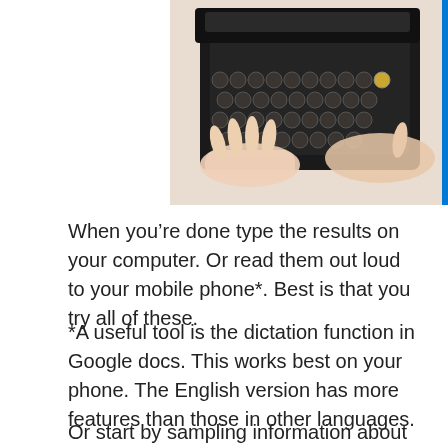[Figure (photo): A person typing on a vintage black typewriter, hands visible on the keyboard, viewed from above at an angle. A blue vertical bar appears on the right edge of the image.]
When you're done type the results on your computer. Or read them out loud to your mobile phone*. Best is that you try all of these.
*A useful tool is the dictation function in Google docs. This works best on your phone. The English version has more features than those in other languages.
Or start by sampling information about your subject, analyze this and write down the ideas that popped up